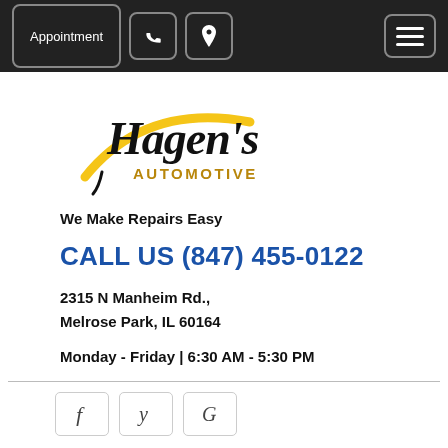Appointment | Phone | Location | Menu
[Figure (logo): Hagen's Automotive logo with yellow swoosh arc and script + block text]
We Make Repairs Easy
CALL US (847) 455-0122
2315 N Manheim Rd.,
Melrose Park, IL 60164
Monday - Friday | 6:30 AM - 5:30 PM
[Figure (other): Social media icons: Facebook, Yelp, Google]